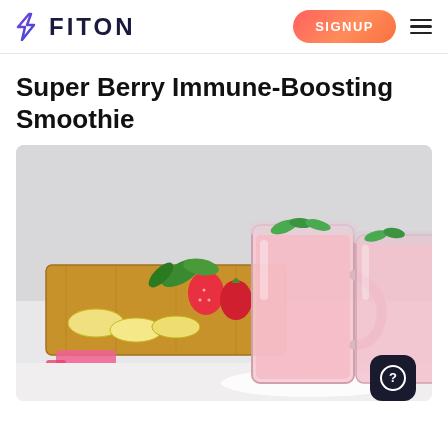FITON — SIGNUP
Super Berry Immune-Boosting Smoothie
[Figure (photo): Two mason jar glasses filled with pink berry smoothie topped with mint leaves, placed next to a wooden cutting board with sliced banana, strawberries, and other fruits on a white background.]